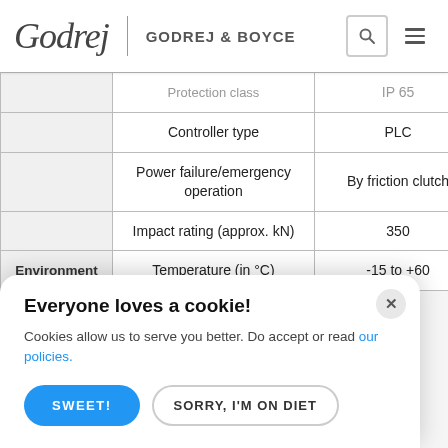Godrej | GODREJ & BOYCE
| Category | Parameter | Value |
| --- | --- | --- |
|  | Protection class | IP 65 |
|  | Controller type | PLC |
|  | Power failure/emergency operation | By friction clutch |
|  | Impact rating (approx. kN) | 350 |
| Environment | Temperature (in °C) | -15 to +60 |
Everyone loves a cookie! Cookies allow us to serve you better. Do accept or read our policies.